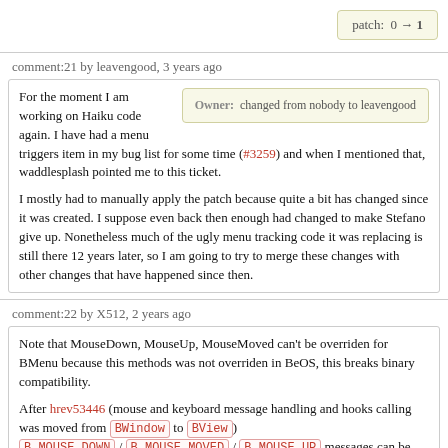patch: 0 → 1
comment:21 by leavengood, 3 years ago
Owner: changed from nobody to leavengood
For the moment I am working on Haiku code again. I have had a menu triggers item in my bug list for some time (#3259) and when I mentioned that, waddlesplash pointed me to this ticket.

I mostly had to manually apply the patch because quite a bit has changed since it was created. I suppose even back then enough had changed to make Stefano give up. Nonetheless much of the ugly menu tracking code it was replacing is still there 12 years later, so I am going to try to merge these changes with other changes that have happened since then.
comment:22 by X512, 2 years ago
Note that MouseDown, MouseUp, MouseMoved can't be overriden for BMenu because this methods was not overriden in BeOS, this breaks binary compatibility.

After hrev53446 (mouse and keyboard message handling and hooks calling was moved from BWindow to BView) B_MOUSE_DOWN / B_MOUSE_MOVED / B_MOUSE_UP messages can be handled in BMenu::MessageReceived.

It is also required to get mouse down event outside of BMenu to hide